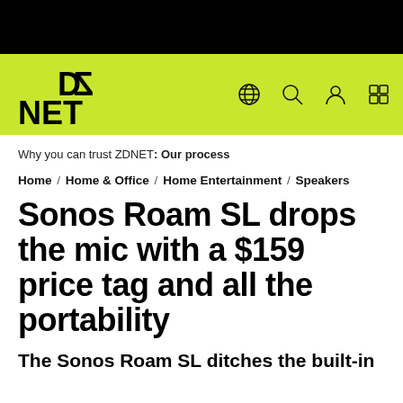ZDNET
Why you can trust ZDNET: Our process
Home / Home & Office / Home Entertainment / Speakers
Sonos Roam SL drops the mic with a $159 price tag and all the portability
The Sonos Roam SL ditches the built-in